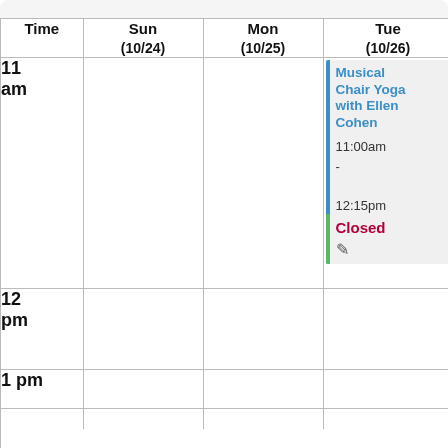| Time | Sun (10/24) | Mon (10/25) | Tue (10/26) | Wed (10/2…) |
| --- | --- | --- | --- | --- |
| 11
am |  |  | Musical Chair Yoga with Ellen Cohen
11:00am - 12:15pm
Closed | Qi G…
with
Yan…
11:0…
-
12:… |
| 12
pm |  |  |  |  |
| 1 pm |  |  |  |  |
[Figure (other): Calendar event card: Musical Chair Yoga with Ellen Cohen, 11:00am - 12:15pm, status: Closed, with edit icon. Blue left border, green accent at bottom. Partially visible Wed column with similar event card and dark navy graduation cap badge overlay.]